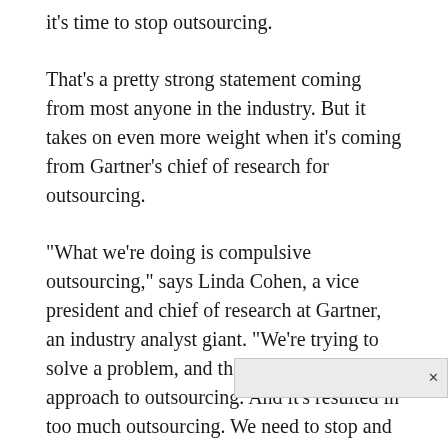it's time to stop outsourcing.
That's a pretty strong statement coming from most anyone in the industry. But it takes on even more weight when it's coming from Gartner's chief of research for outsourcing.
"What we're doing is compulsive outsourcing," says Linda Cohen, a vice president and chief of research at Gartner, an industry analyst giant. "We're trying to solve a problem, and that's a very tactical approach to outsourcing. And it's resulted in too much outsourcing. We need to stop and consider the strategy, so we're enabling a business goal rather than fixing a problem."
Cohen, who is co-author of Multisourcing: Moving beyond Outsourcing to Achieve Growth and Agility, says companies are in trouble because executives are making knee-jerk outsourcing decisions well as on